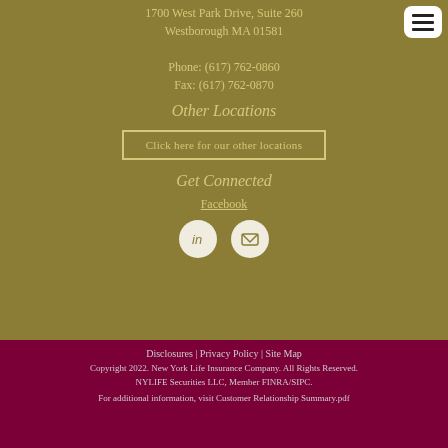1700 West Park Drive, Suite 260
Westborough MA 01581

Phone: (617) 762-0860
Fax: (617) 762-0870
Other Locations
Click here for our other locations
Get Connected
Facebook
[Figure (illustration): LinkedIn icon circle button and email/envelope icon circle button]
Disclosures | Privacy Policy | Site Map
Copyright 2022. New York Life Insurance Company. All Rights Reserved. NYLIFE Securities LLC, Member FINRA/SIPC.

For additional information, visit Customer Relationship Summary.pdf